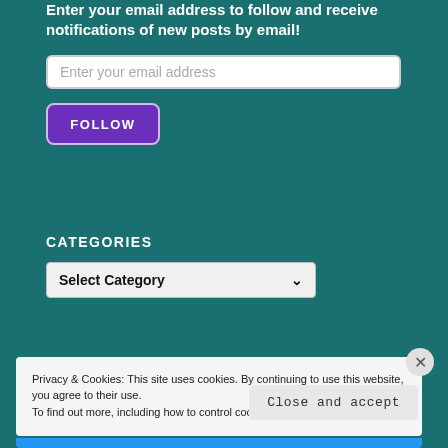Enter your email address to follow and receive notifications of new posts by email!
Enter your email address
FOLLOW
CATEGORIES
Select Category
Privacy & Cookies: This site uses cookies. By continuing to use this website, you agree to their use. To find out more, including how to control cookies, see here: Cookie Policy
Close and accept